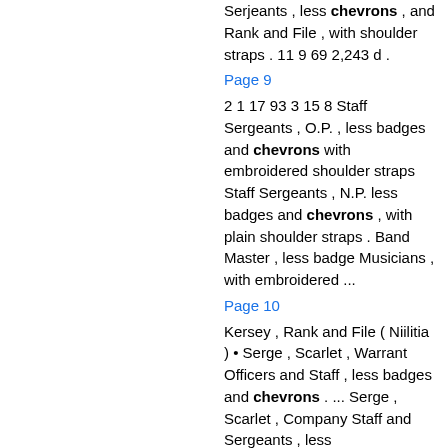Serjeants , less chevrons , and Rank and File , with shoulder straps . 11 9 69 2,243 d .
Page 9
2 1 17 93 3 15 8 Staff Sergeants , O.P. , less badges and chevrons with embroidered shoulder straps Staff Sergeants , N.P. less badges and chevrons , with plain shoulder straps . Band Master , less badge Musicians , with embroidered ...
Page 10
Kersey , Rank and File ( Niilitia ) • Serge , Scarlet , Warrant Officers and Staff , less badges and chevrons . ... Serge , Scarlet , Company Staff and Sergeants , less